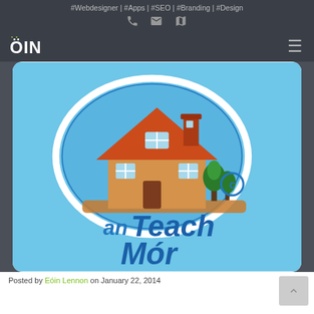#Webdesigner | #Apps | #SEO | #Branding | #Design
[Figure (logo): ÖIN logo in white text on dark background with green dots above Ö]
[Figure (screenshot): An Teach Mór app icon showing a cartoon house on a blue cloud/bubble background with text 'an Teach Mór' and copyright symbol]
Posted by Eóin Lennon on January 22, 2014